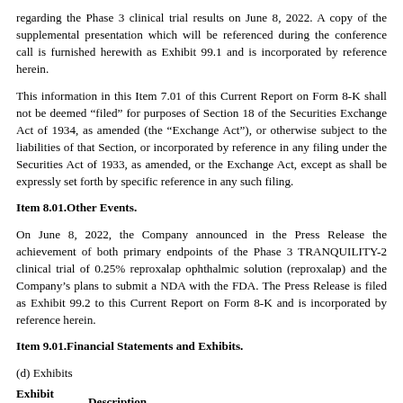regarding the Phase 3 clinical trial results on June 8, 2022. A copy of the supplemental presentation which will be referenced during the conference call is furnished herewith as Exhibit 99.1 and is incorporated by reference herein.
This information in this Item 7.01 of this Current Report on Form 8-K shall not be deemed “filed” for purposes of Section 18 of the Securities Exchange Act of 1934, as amended (the “Exchange Act”), or otherwise subject to the liabilities of that Section, or incorporated by reference in any filing under the Securities Act of 1933, as amended, or the Exchange Act, except as shall be expressly set forth by specific reference in any such filing.
Item 8.01.Other Events.
On June 8, 2022, the Company announced in the Press Release the achievement of both primary endpoints of the Phase 3 TRANQUILITY-2 clinical trial of 0.25% reproxalap ophthalmic solution (reproxalap) and the Company’s plans to submit a NDA with the FDA. The Press Release is filed as Exhibit 99.2 to this Current Report on Form 8-K and is incorporated by reference herein.
Item 9.01.Financial Statements and Exhibits.
(d) Exhibits
| Exhibit
No. | Description |
| --- | --- |
| 99.1 | Aldeyra Therapeutics, Inc. Presentation dated June 8, 2022. |